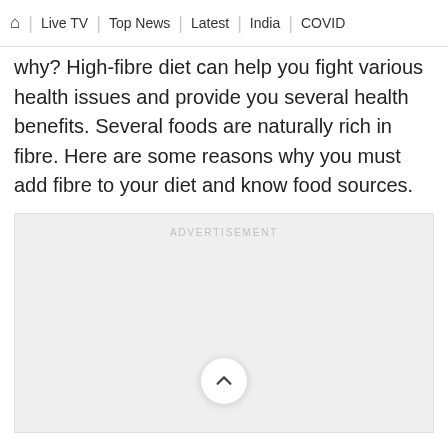🏠 | Live TV | Top News | Latest | India | COVID
why? High-fibre diet can help you fight various health issues and provide you several health benefits. Several foods are naturally rich in fibre. Here are some reasons why you must add fibre to your diet and know food sources.
[Figure (other): Advertisement placeholder box with 'ADVERTISEMENT' label and a scroll-to-top button (chevron up icon) centered in the lower portion of the ad area.]